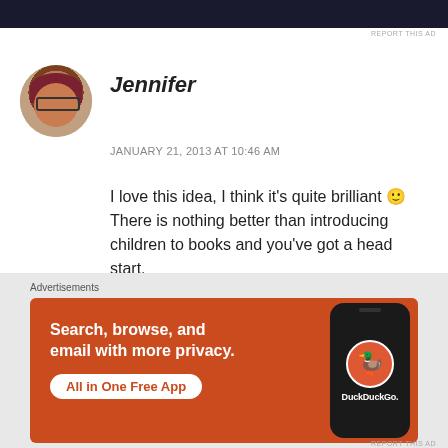[Figure (photo): Dark banner advertisement bar at top of page]
REPORT THIS AD
[Figure (photo): Circular avatar photo of Jennifer, a woman with reddish hair and glasses, smiling]
Jennifer
JANUARY 21, 2013 AT 10:46 AM
I love this idea, I think it's quite brilliant 🙂 There is nothing better than introducing children to books and you've got a head start.
★ Like
Advertisements
[Figure (screenshot): DuckDuckGo advertisement banner with orange background showing 'Search, browse, and email with more privacy. All in One Free App' with DuckDuckGo logo and phone mockup]